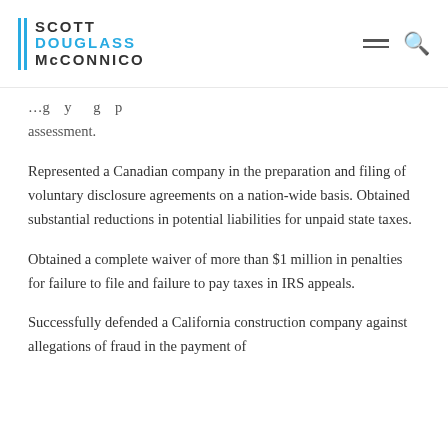Scott Douglass McConnico
assessment.
Represented a Canadian company in the preparation and filing of voluntary disclosure agreements on a nation-wide basis. Obtained substantial reductions in potential liabilities for unpaid state taxes.
Obtained a complete waiver of more than $1 million in penalties for failure to file and failure to pay taxes in IRS appeals.
Successfully defended a California construction company against allegations of fraud in the payment of